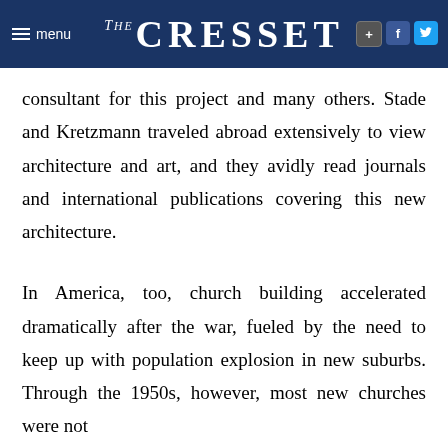The Cresset
consultant for this project and many others. Stade and Kretzmann traveled abroad extensively to view architecture and art, and they avidly read journals and international publications covering this new architecture.
In America, too, church building accelerated dramatically after the war, fueled by the need to keep up with population explosion in new suburbs. Through the 1950s, however, most new churches were not